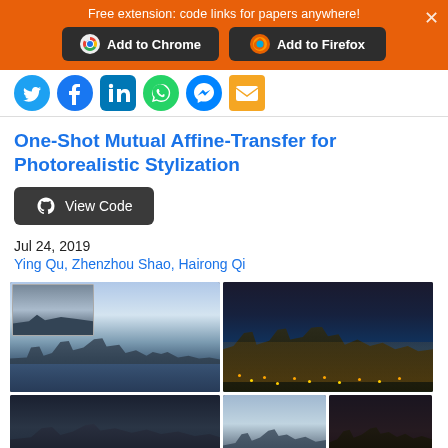Free extension: code links for papers anywhere!
[Figure (screenshot): Social media share icons: Twitter, Facebook, LinkedIn, WhatsApp, Messenger, Email]
One-Shot Mutual Affine-Transfer for Photorealistic Stylization
View Code
Jul 24, 2019
Ying Qu, Zhenzhou Shao, Hairong Qi
[Figure (photo): Grid of city skyline photos showing photorealistic stylization results]